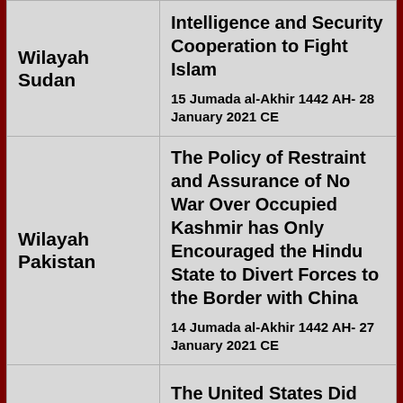| Wilayah | Article Title / Date |
| --- | --- |
| Wilayah Sudan | Intelligence and Security Cooperation to Fight Islam
15 Jumada al-Akhir 1442 AH- 28 January 2021 CE |
| Wilayah Pakistan | The Policy of Restraint and Assurance of No War Over Occupied Kashmir has Only Encouraged the Hindu State to Divert Forces to the Border with China
14 Jumada al-Akhir 1442 AH- 27 January 2021 CE |
| Wilayah Pakistan | The United States Did Not Occupy Afghanistan Only to Withdraw on Simply Asking it to leave |